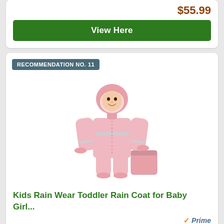$55.99
View Here
RECOMMENDATION NO. 11
[Figure (photo): A toddler wearing a pink full-body rain suit with hood and reflective strips, holding a small pink storage bag.]
Kids Rain Wear Toddler Rain Coat for Baby Girl...
Prime